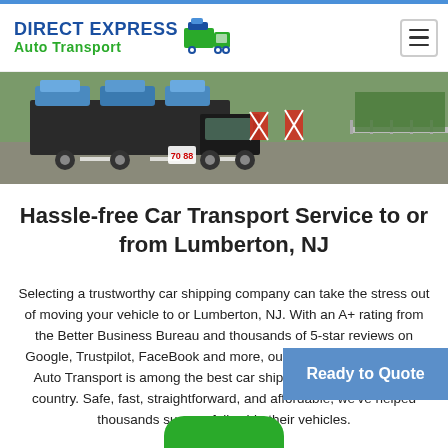DIRECT EXPRESS Auto Transport
[Figure (photo): Car transport trucks on a highway, loaded car carrier trucks with vehicles visible in the background]
Hassle-free Car Transport Service to or from Lumberton, NJ
Selecting a trustworthy car shipping company can take the stress out of moving your vehicle to or Lumberton, NJ. With an A+ rating from the Better Business Bureau and thousands of 5-star reviews on Google, Trustpilot, FaceBook and more, our staff at Direct Express Auto Transport is among the best car shipping companies in the country. Safe, fast, straightforward, and affordable, we've helped thousands successfully ship their vehicles.